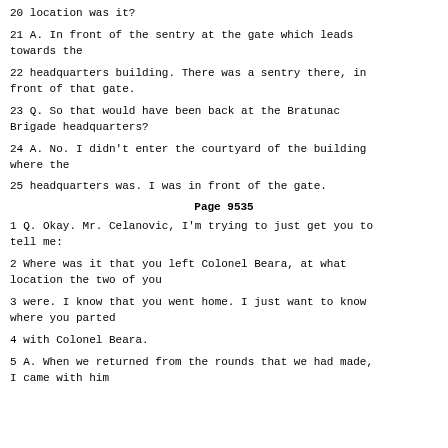20 location was it?
21 A. In front of the sentry at the gate which leads towards the
22 headquarters building. There was a sentry there, in front of that gate.
23 Q. So that would have been back at the Bratunac Brigade headquarters?
24 A. No. I didn't enter the courtyard of the building where the
25 headquarters was. I was in front of the gate.
Page 9535
1 Q. Okay. Mr. Celanovic, I'm trying to just get you to tell me:
2 Where was it that you left Colonel Beara, at what location the two of you
3 were. I know that you went home. I just want to know where you parted
4 with Colonel Beara.
5 A. When we returned from the rounds that we had made, I came with him